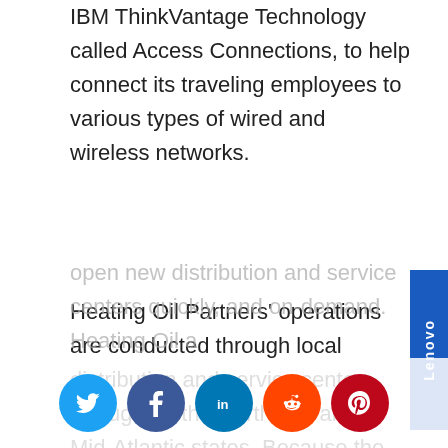IBM ThinkVantage Technology called Access Connections, to help connect its traveling employees to various types of wired and wireless networks.
Heating Oil Partners' operations are conducted through local distribution and service centers throughout the Northeast and Mid-Atlantic states. Because the business activities span a six-state region that encompasses a growing population, Heating Oil Partners must be poised to
open new distribution and service centers quickly, and on-demand. Heating Oil a
[Figure (other): Lenovo blue vertical sidebar label on right side of page]
[Figure (other): Social media sharing bar at bottom with Twitter, Facebook, LinkedIn, Reddit, Pinterest circular icons]